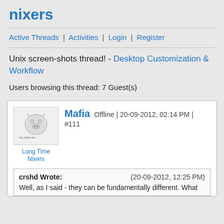nixers
Active Threads | Activities | Login | Register
Unix screen-shots thread! - Desktop Customization & Workflow
Users browsing this thread: 7 Guest(s)
Mafia Offline | 20-09-2012, 02:14 PM | #111
Long Time Nixers
crshd Wrote: (20-09-2012, 12:25 PM)
Well, as I said - they can be fundamentally different. What